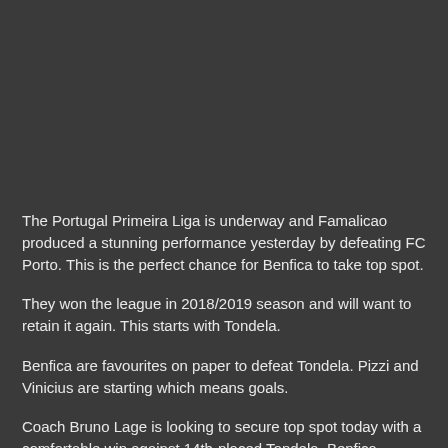The Portugal Primeira Liga is underway and Famalicao produced a stunning performance yesterday by defeating FC Porto. This is the perfect chance for Benfica to take top spot.
They won the league in 2018/2019 season and will want to retain it again. This starts with Tondela.
Benfica are favourites on paper to defeat Tondela. Pizzi and Vinicius are starting which means goals.
Coach Bruno Lage is looking to secure top spot today with a comfortable win against 14th-placed Tondela. Benfica...